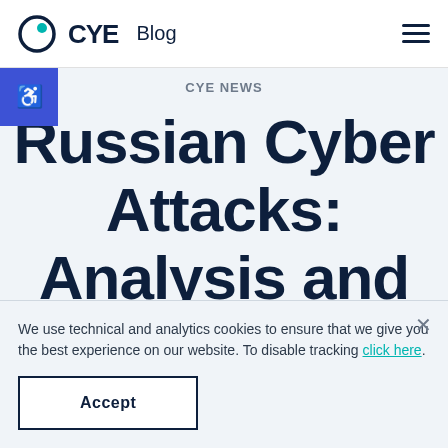CYE Blog
CYE News
Russian Cyber Attacks: Analysis and Recommendations
We use technical and analytics cookies to ensure that we give you the best experience on our website. To disable tracking click here.
Accept